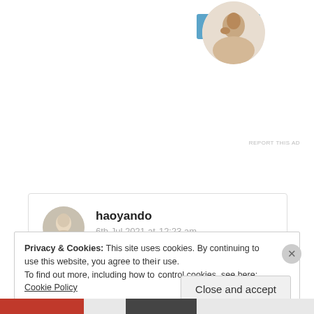[Figure (other): Apply button (blue) at top left area of page]
[Figure (photo): Circular profile photo of a man thinking/writing, used as an advertisement image]
REPORT THIS AD
[Figure (photo): Circular avatar of user haoyando - black and white photo of a woman]
haoyando
6th Jul 2021 at 12:23 am
LOL. Such a wonderful post. Yes, silence screams loudly among lovers. That;s funny.
Privacy & Cookies: This site uses cookies. By continuing to use this website, you agree to their use.
To find out more, including how to control cookies, see here: Cookie Policy
Close and accept